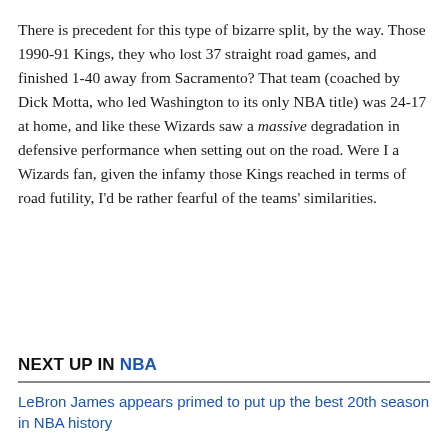There is precedent for this type of bizarre split, by the way. Those 1990-91 Kings, they who lost 37 straight road games, and finished 1-40 away from Sacramento? That team (coached by Dick Motta, who led Washington to its only NBA title) was 24-17 at home, and like these Wizards saw a massive degradation in defensive performance when setting out on the road. Were I a Wizards fan, given the infamy those Kings reached in terms of road futility, I'd be rather fearful of the teams' similarities.
NEXT UP IN NBA
LeBron James appears primed to put up the best 20th season in NBA history